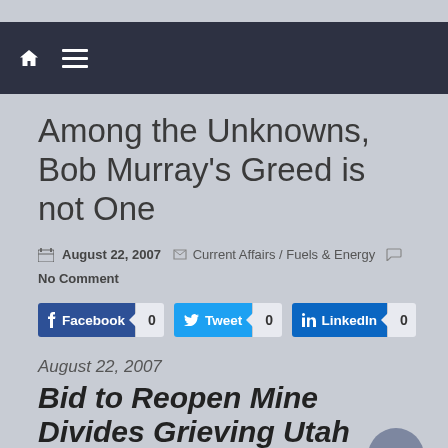[Navigation bar with home icon and menu icon]
Among the Unknowns, Bob Murray's Greed is not One
August 22, 2007  Current Affairs / Fuels & Energy  No Comment
Facebook 0  Tweet 0  LinkedIn 0
August 22, 2007
Bid to Reopen Mine Divides Grieving Utah Town
By SUSAN SAULNY and CARA BUCKLEY
HUNTINGTON, Utah, Aug. 21 — A resolution on Tuesday...